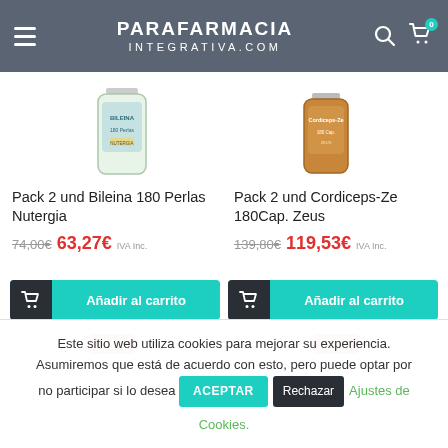PARAFARMACIA INTEGRATIVA.COM
[Figure (photo): Product image: Pack 2 und Bileina 180 Perlas Nutergia supplement bottle]
[Figure (photo): Product image: Pack 2 und Cordiceps-Ze 180Cap. Zeus supplement bottle]
Pack 2 und Bileina 180 Perlas Nutergia
74,00€  63,27€ IVA Inc.
Pack 2 und Cordiceps-Ze 180Cap. Zeus
139,80€  119,53€ IVA Inc.
Añadir al carrito
Añadir al carrito
-14%
-14%
Este sitio web utiliza cookies para mejorar su experiencia. Asumiremos que está de acuerdo con esto, pero puede optar por no participar si lo desea ACEPTAR Rechazar Ajustes de Cookies.